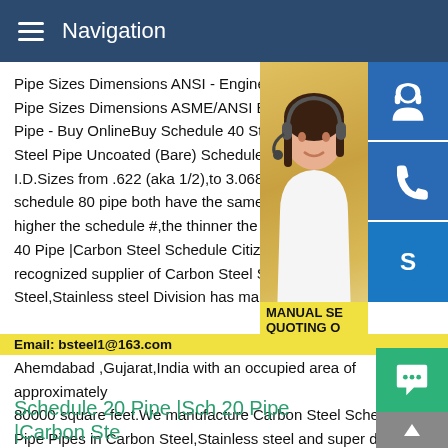Navigation
Pipe Sizes Dimensions ANSI - Engineers E
Pipe Sizes Dimensions ASME/ANSI B36.1
Pipe - Buy OnlineBuy Schedule 40 Steel P
Steel Pipe Uncoated (Bare) Schedule 40 S
I.D.Sizes from .622 (aka 1/2),to 3.068 (aka
schedule 80 pipe both have the same OD
higher the schedule #,the thinner the wall.
40 Pipe |Carbon Steel Schedule Citizen M
recognized supplier of Carbon Steel Sche
Steel,Stainless steel Division has manufa
Ahemdabad ,Gujarat,India with an occupied area of approximately 80000 square feet.We manufacture Carbon Steel Schedule 40 Pipe Pipes in Carbon Steel,Stainless steel and super duplex s for boilers and heat exchangers.
[Figure (photo): Woman with headset on yellow background serving as customer support representative, with blue icon buttons on the right (headset/support icon, phone icon, Skype icon)]
MANUAL SE
QUOTING O
Email: bsteel1@163.com
Schedule 20 Pipe |Sch 20 Pipe |Carbon Ste